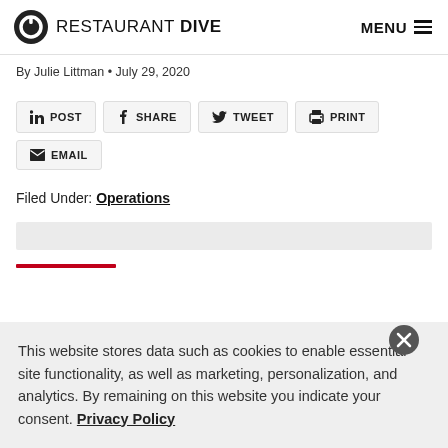RESTAURANT DIVE  MENU
By Julie Littman • July 29, 2020
POST  SHARE  TWEET  PRINT  EMAIL
Filed Under: Operations
This website stores data such as cookies to enable essential site functionality, as well as marketing, personalization, and analytics. By remaining on this website you indicate your consent. Privacy Policy